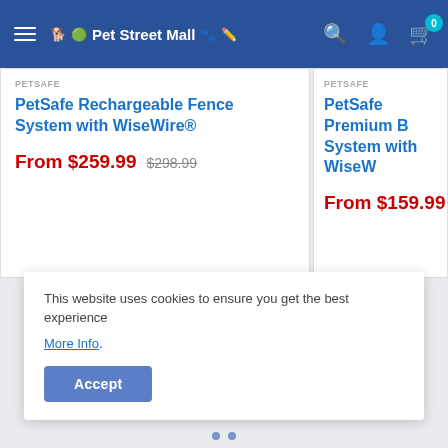Pet Street Mall
PetSafe Rechargeable Fence System with WiseWire®
From $259.99  $298.99
PetSafe Premium B... System with WiseW...
From $159.99
[Figure (illustration): Box/package icon outlined in blue]
This website uses cookies to ensure you get the best experience
More Info.
Accept